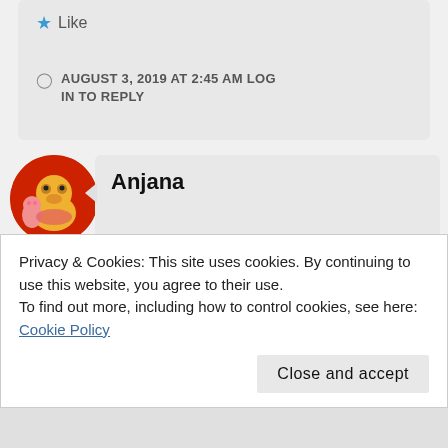Like
AUGUST 3, 2019 AT 2:45 AM LOG IN TO REPLY
Anjana
Thanks AJ. Hope you are well. It's been long
Privacy & Cookies: This site uses cookies. By continuing to use this website, you agree to their use.
To find out more, including how to control cookies, see here: Cookie Policy
Close and accept